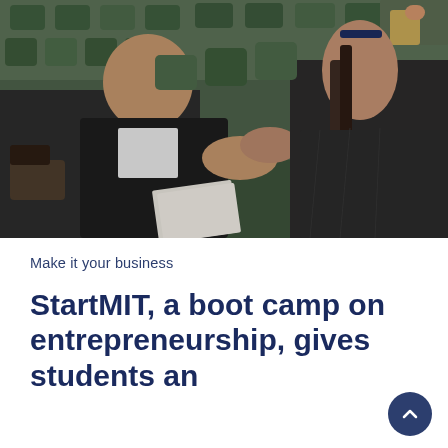[Figure (photo): Two students shaking hands in an auditorium with green seats. A young man in a black jacket smiles while shaking hands with a young woman in a dark puffer jacket. Other students are visible in the background seating.]
Make it your business
StartMIT, a boot camp on entrepreneurship, gives students an